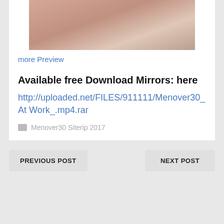[Figure (photo): Partial view of people on a bed, cropped at top]
more Preview
Available free Download Mirrors: here
http://uploaded.net/FILES/911111/Menover30_At Work_.mp4.rar
Menover30 Siterip 2017
PREVIOUS POST | NEXT POST